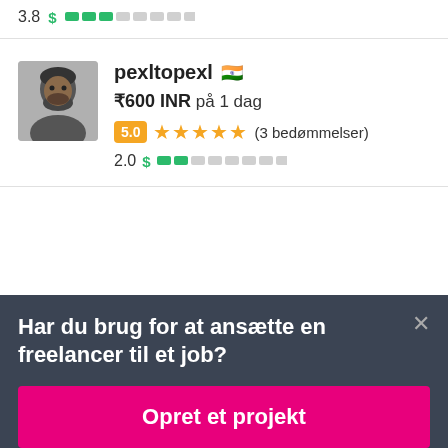[Figure (other): Rating row with score 3.8 and a dollar sign with green bar segments]
[Figure (infographic): Freelancer card for pexltopexl with Indian flag, price ₹600 INR på 1 dag, rating 5.0 with 5 stars (3 bedømmelser), and score 2.0 with dollar bar]
Har du brug for at ansætte en freelancer til et job?
Opret et projekt